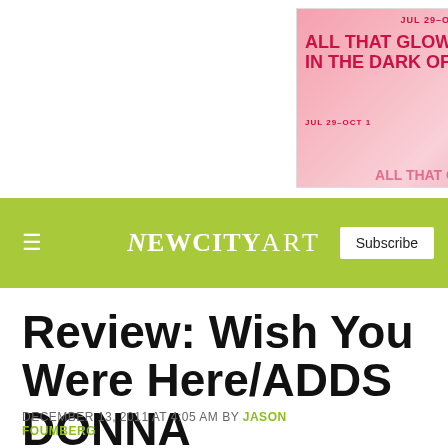[Figure (infographic): Advertisement banner for art exhibition 'All That Glows in the Dark of Democracy', Jul 29–Oct 1, featuring artists Alejandro T. Acierte, Kandis Friesen, Hannah Givler, Aram Han Sifuentes, Ariana Jacob, Aay Preston-Myint, at Weinberg/Newton Gallery, 688 N Milwaukee Avenue. Pink gradient background with crimson text.]
NEWCITYART — Subscribe
Review: Wish You Were Here/ADDS DONNA
DECEMBER 13, 2011 AT 4:05 AM BY JASON FOUMBERG